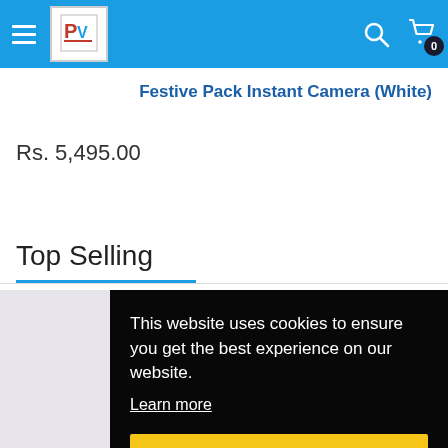Navigation bar with hamburger menu, logo, search icon, cart icon with badge 0
Festive Pack Instant Camera (White)
Rs. 5,495.00
Top Selling
[Figure (photo): Thumbnail of a pink/purple colored product (instant camera) on light gray background]
This website uses cookies to ensure you get the best experience on our website. Learn more
Got it!